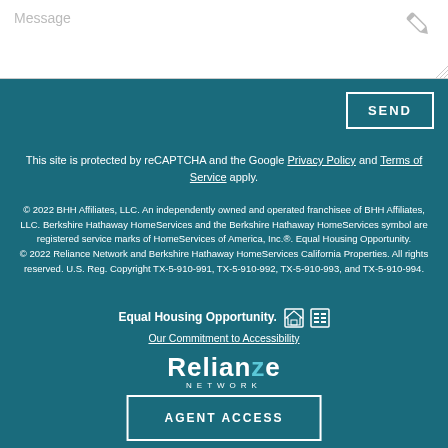[Figure (screenshot): Message input text area with placeholder text 'Message' and a pencil edit icon in the top right corner]
SEND
This site is protected by reCAPTCHA and the Google Privacy Policy and Terms of Service apply.
© 2022 BHH Affiliates, LLC. An independently owned and operated franchisee of BHH Affiliates, LLC. Berkshire Hathaway HomeServices and the Berkshire Hathaway HomeServices symbol are registered service marks of HomeServices of America, Inc.®. Equal Housing Opportunity. © 2022 Reliance Network and Berkshire Hathaway HomeServices California Properties. All rights reserved. U.S. Reg. Copyright TX-5-910-991, TX-5-910-992, TX-5-910-993, and TX-5-910-994.
Equal Housing Opportunity.
Our Commitment to Accessibility
[Figure (logo): Reliance Network logo in white/teal tones]
AGENT ACCESS